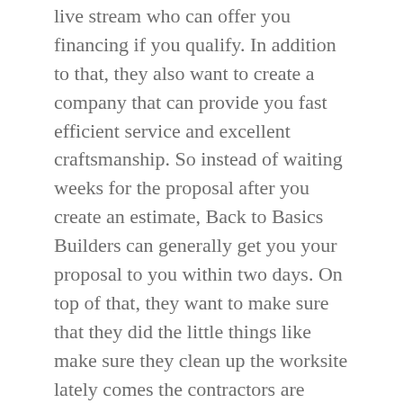live stream who can offer you financing if you qualify. In addition to that, they also want to create a company that can provide you fast efficient service and excellent craftsmanship. So instead of waiting weeks for the proposal after you create an estimate, Back to Basics Builders can generally get you your proposal to you within two days. On top of that, they want to make sure that they did the little things like make sure they clean up the worksite lately comes the contractors are infamous for leaving messages, even when they leave the project for good after they finished, such as the Best Basement Remodeling Milwaukee.
They've also made some no-brainer offers for people seeking remodeling and renovation